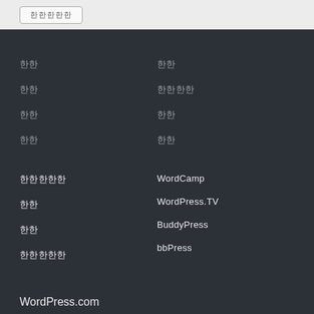[Figure (screenshot): Top bar with a button showing Korean characters, light gray background]
한국어 링크 1 (left col row 1)
한국어 링크 2 (right col row 1)
한국어 링크 3 (left col row 2)
한국어 링크 4 (right col row 2)
한국어 링크 5 (left col row 3)
한국어 링크 6 (right col row 3)
한국어 링크 7 (left col row 4)
한국어 링크 8 (right col row 4)
한국어 링크 9 (left col row 5)
WordCamp
한국어 링크 10 (left col row 6)
WordPress.TV
한국어 링크 11 (left col row 7)
BuddyPress
한국어 링크 12 (left col row 8)
bbPress
WordPress.com